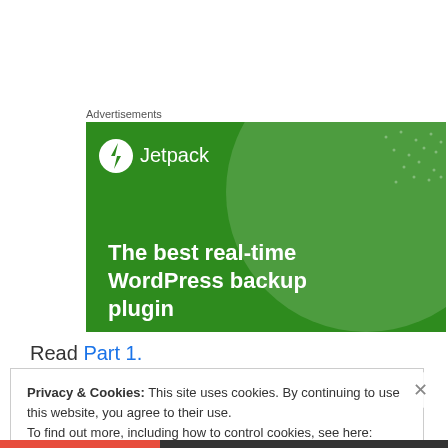Advertisements
[Figure (illustration): Jetpack advertisement banner with green background showing the Jetpack logo and text 'The best real-time WordPress backup plugin']
Read Part 1.
Privacy & Cookies: This site uses cookies. By continuing to use this website, you agree to their use.
To find out more, including how to control cookies, see here: Cookie Policy
Close and accept